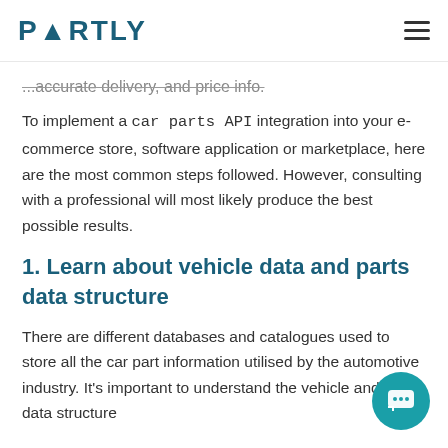PARTLY
...accurate delivery, and price info.
To implement a car parts API integration into your e-commerce store, software application or marketplace, here are the most common steps followed. However, consulting with a professional will most likely produce the best possible results.
1. Learn about vehicle data and parts data structure
There are different databases and catalogues used to store all the car part information utilised by the automotive industry. It's important to understand the vehicle and parts data structure